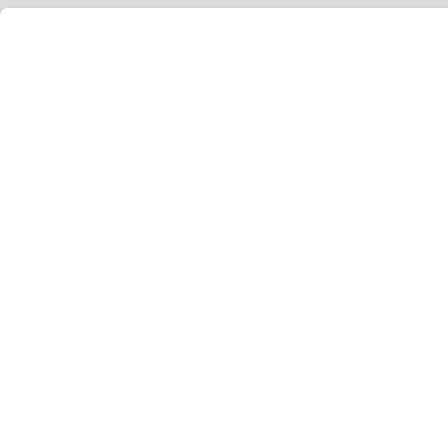[Figure (screenshot): Partial view of a forum post page. Top portion shows a post card (right side clipped) with partial text visible: 'Pro', 'Me', 'of', 'the', 'The', 'We', 'Isle', a horizontal rule, a 'Sh' button, and a scroll-up circle. Below is a second post card showing an Australian Aboriginal flag avatar for user 'Athara Magarat' (Minister), with Posts: 2761, Founded: Oct 08, 2015, Democratic Socialists. The right column shows a QUOTE button, post by Athara Magarat, dated Fri Jun 03, 2022 12:19 am, and partial large text 'U', 'M', 'or'.]